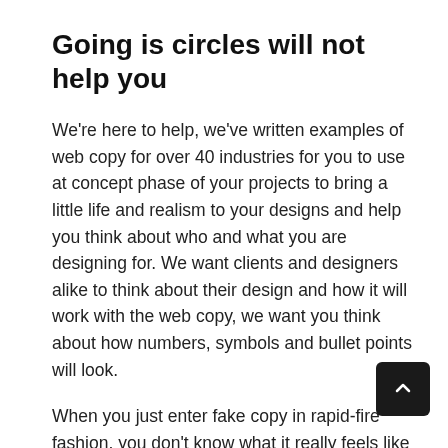Going is circles will not help you
We're here to help, we've written examples of web copy for over 40 industries for you to use at concept phase of your projects to bring a little life and realism to your designs and help you think about who and what you are designing for. We want clients and designers alike to think about their design and how it will work with the web copy, we want you think about how numbers, symbols and bullet points will look.
When you just enter fake copy in rapid-fire fashion, you don't know what it really feels like to fill out that form. Do as your customers do and you'll understand them better. When you understand them better, and feel what they feel, you'll build a better interface. Clients big and small across a range of sectors and we